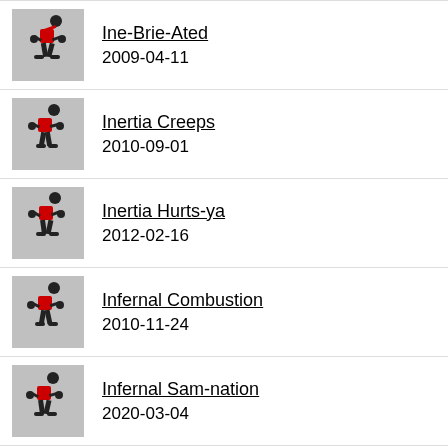Ine-Brie-Ated
2009-04-11
Inertia Creeps
2010-09-01
Inertia Hurts-ya
2012-02-16
Infernal Combustion
2010-11-24
Infernal Sam-nation
2020-03-04
Infernal Sam-nation
2020-03-04